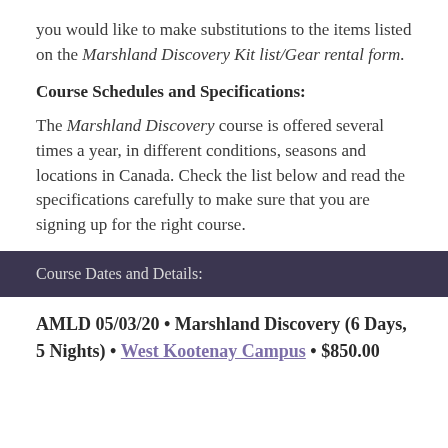you would like to make substitutions to the items listed on the Marshland Discovery Kit list/Gear rental form.
Course Schedules and Specifications:
The Marshland Discovery course is offered several times a year, in different conditions, seasons and locations in Canada. Check the list below and read the specifications carefully to make sure that you are signing up for the right course.
Course Dates and Details:
AMLD 05/03/20 • Marshland Discovery (6 Days, 5 Nights) • West Kootenay Campus • $850.00